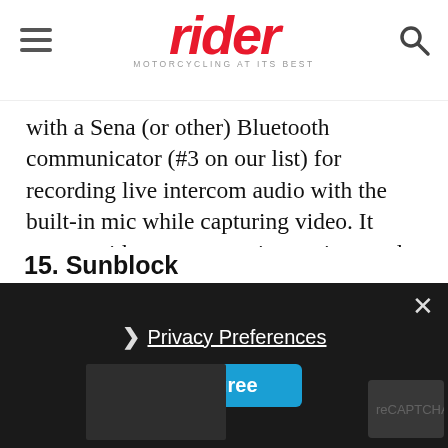rider — MOTORCYCLING AT ITS BEST
with a Sena (or other) Bluetooth communicator (#3 on our list) for recording live intercom audio with the built-in mic while capturing video. It comes with many mounting options and is available with a handlebar remote that controls all camera functions with a jog wheel.
Read our review of the Sena Prism Action Camera and Handlebar Remote
15. Sunblock
Privacy Preferences
I Agree